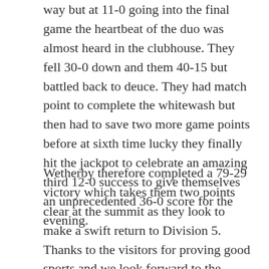way but at 11-0 going into the final game the heartbeat of the duo was almost heard in the clubhouse. They fell 30-0 down and them 40-15 but battled back to deuce. They had match point to complete the whitewash but then had to save two more game points before at sixth time lucky they finally hit the jackpot to celebrate an amazing third 12-0 success to give themselves an unprecedented 36-0 score for the evening.
Wetherby therefore completed a 79-29 victory which takes them two points clear at the summit as they look to make a swift return to Division 5. Thanks to the visitors for proving good sports and we look forward to the return fixture. Harlow and West Tanfield have midweek chances to join Wetherby again at the top before the team travel to Almscliffe on June 19 for their next fixture. With Anne Lillywhite on holiday and